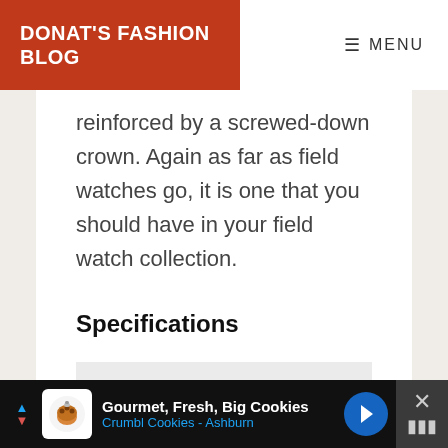DONAT'S FASHION BLOG | MENU
reinforced by a screwed-down crown. Again as far as field watches go, it is one that you should have in your field watch collection.
Specifications
|  |  |
| --- | --- |
| Size | 42 mm |
[Figure (screenshot): Advertisement banner at bottom: Gourmet, Fresh, Big Cookies - Crumbl Cookies - Ashburn]